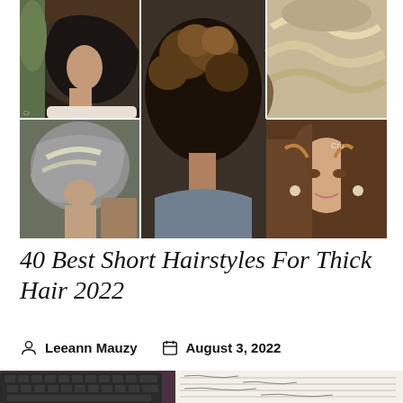[Figure (photo): Collage of 5 photos showing various short hairstyles for thick hair — including bob cuts, curly updos, wavy bobs with highlights, and layered shag styles on women.]
40 Best Short Hairstyles For Thick Hair 2022
Leeann Mauzy   August 3, 2022
[Figure (photo): Partial photo of a keyboard and open notebook/journal with handwritten notes on a dark surface.]